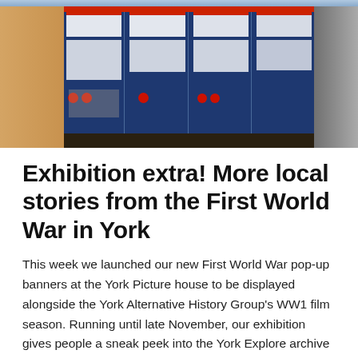[Figure (photo): A photograph of a First World War pop-up exhibition with blue banner panels displaying historical documents, photographs, and text, with red poppies as decorative elements. Set in what appears to be a modern building lobby with wooden wall paneling on the left.]
Exhibition extra! More local stories from the First World War in York
This week we launched our new First World War pop-up banners at the York Picture house to be displayed alongside the York Alternative History Group's WW1 film season. Running until late November, our exhibition gives people a sneak peek into the York Explore archive